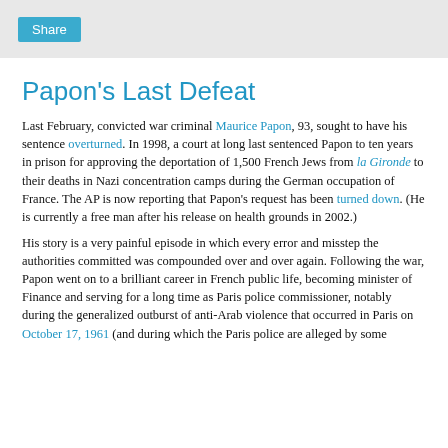Share
Papon's Last Defeat
Last February, convicted war criminal Maurice Papon, 93, sought to have his sentence overturned. In 1998, a court at long last sentenced Papon to ten years in prison for approving the deportation of 1,500 French Jews from la Gironde to their deaths in Nazi concentration camps during the German occupation of France. The AP is now reporting that Papon's request has been turned down. (He is currently a free man after his release on health grounds in 2002.)
His story is a very painful episode in which every error and misstep the authorities committed was compounded over and over again. Following the war, Papon went on to a brilliant career in French public life, becoming minister of Finance and serving for a long time as Paris police commissioner, notably during the generalized outburst of anti-Arab violence that occurred in Paris on October 17, 1961 (and during which the Paris police are alleged by some